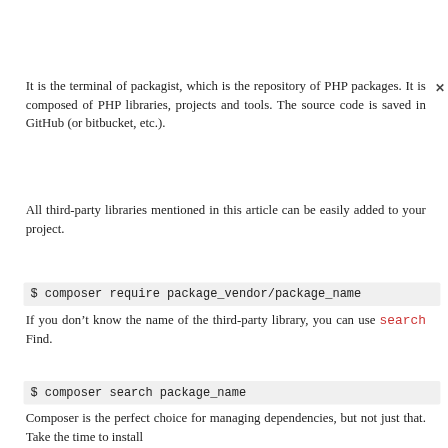It is the terminal of packagist, which is the repository of PHP packages. It is composed of PHP libraries, projects and tools. The source code is saved in GitHub (or bitbucket, etc.).
All third-party libraries mentioned in this article can be easily added to your project.
$ composer require package_vendor/package_name
If you don't know the name of the third-party library, you can use search Find.
$ composer search package_name
Composer is the perfect choice for managing dependencies, but not just that. Take the time to install